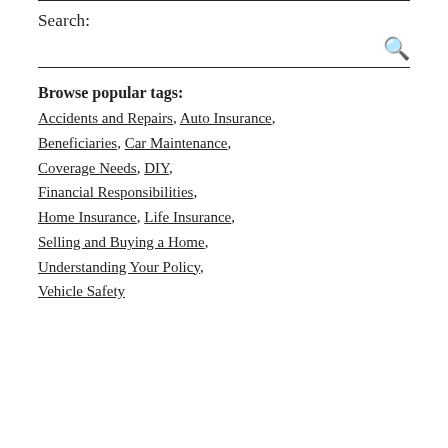Search:
Browse popular tags: Accidents and Repairs, Auto Insurance, Beneficiaries, Car Maintenance, Coverage Needs, DIY, Financial Responsibilities, Home Insurance, Life Insurance, Selling and Buying a Home, Understanding Your Policy, Vehicle Safety